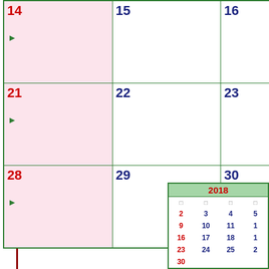[Figure (other): Partial monthly calendar grid showing dates 14-16, 21-23, 28-30 with Sunday column highlighted in pink and green arrow markers. A mini calendar for 2018 is shown in the bottom right corner.]